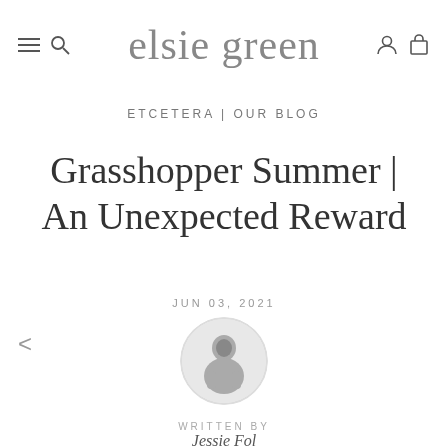elsie green — navigation header with hamburger, search, user, cart icons
ETCETERA | OUR BLOG
Grasshopper Summer | An Unexpected Reward
JUN 03, 2021
[Figure (photo): Circular avatar photo of the article author in black and white]
WRITTEN BY
Jessie Fol...